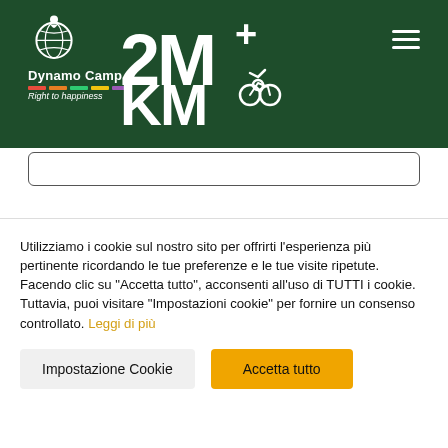[Figure (logo): Dynamo Camp logo with globe icon and '2M+ KM' campaign branding on dark green header bar with hamburger menu]
Email *
[Figure (screenshot): Email input field (empty, white rounded rectangle)]
Lascia il tuo messaggio
Scrivi un pensiero ad una persona cara, il motivo
Utilizziamo i cookie sul nostro sito per offrirti l'esperienza più pertinente ricordando le tue preferenze e le tue visite ripetute. Facendo clic su "Accetta tutto", acconsenti all'uso di TUTTI i cookie. Tuttavia, puoi visitare "Impostazioni cookie" per fornire un consenso controllato. Leggi di più
Impostazione Cookie
Accetta tutto